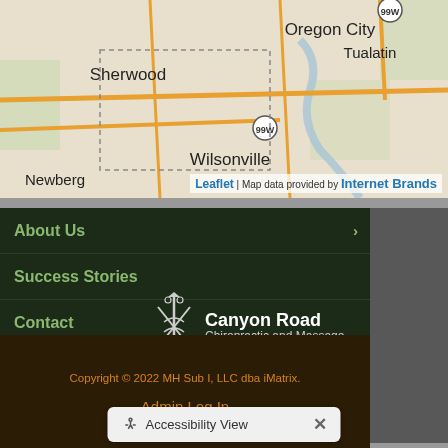[Figure (map): Street map showing Tualatin, Sherwood, Oregon City, Wilsonville, Newberg area in Oregon with highway 99W marked]
Leaflet | Map data provided by Internet Brands
About Us
Success Stories
Contact
[Figure (logo): Canyon Road Chiropractic and Massage logo with caduceus symbol]
Wellness Center Articles
Copyright © 2022 MH Sub I, LLC dba iMatrix.
Admin Log In
Site Map
Accessibility View